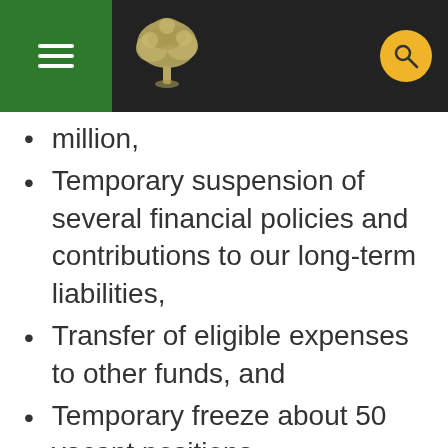[Navigation header with hamburger menu, tree logo, and search icon]
million,
Temporary suspension of several financial policies and contributions to our long-term liabilities,
Transfer of eligible expenses to other funds, and
Temporary freeze about 50 vacant positions